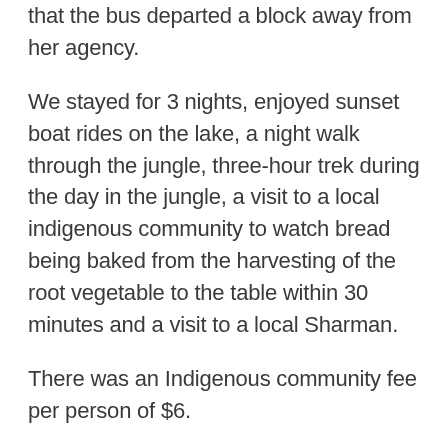that the bus departed a block away from her agency.
We stayed for 3 nights, enjoyed sunset boat rides on the lake, a night walk through the jungle, three-hour trek during the day in the jungle, a visit to a local indigenous community to watch bread being baked from the harvesting of the root vegetable to the table within 30 minutes and a visit to a local Sharman.
There was an Indigenous community fee per person of $6.
Tips not included.